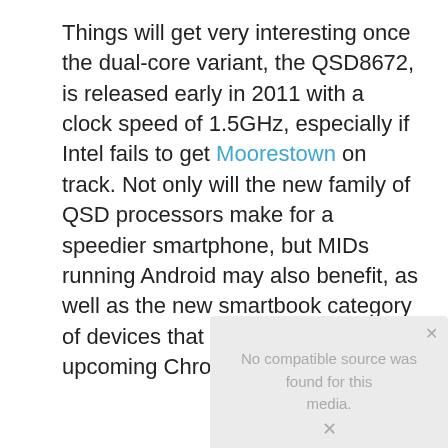Things will get very interesting once the dual-core variant, the QSD8672, is released early in 2011 with a clock speed of 1.5GHz, especially if Intel fails to get Moorestown on track. Not only will the new family of QSD processors make for a speedier smartphone, but MIDs running Android may also benefit, as well as the new smartbook category of devices that will run Google's upcoming Chrome OS.
[Figure (other): Media player placeholder showing 'No compatible source was found for this media.' text on a light grey background with a close button and playback controls.]